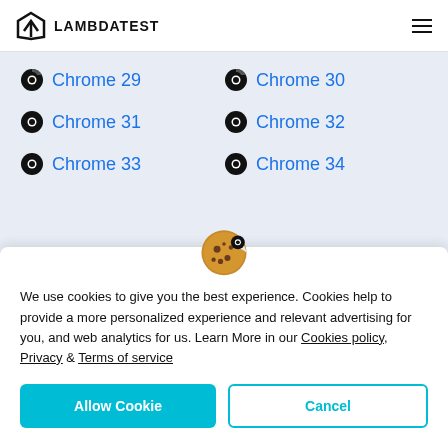LAMBDATEST
Chrome 29
Chrome 30
Chrome 31
Chrome 32
Chrome 33
Chrome 34
We use cookies to give you the best experience. Cookies help to provide a more personalized experience and relevant advertising for you, and web analytics for us. Learn More in our Cookies policy, Privacy & Terms of service
Allow Cookie | Cancel